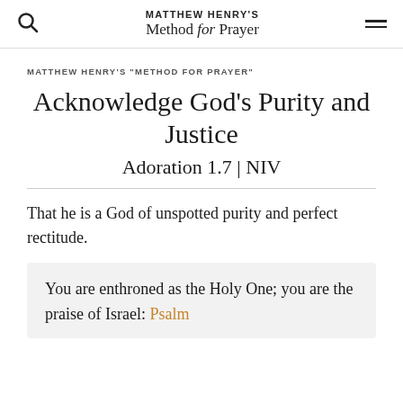MATTHEW HENRY'S Method for Prayer
MATTHEW HENRY'S "METHOD FOR PRAYER"
Acknowledge God's Purity and Justice
Adoration 1.7 | NIV
That he is a God of unspotted purity and perfect rectitude.
You are enthroned as the Holy One; you are the praise of Israel: Psalm